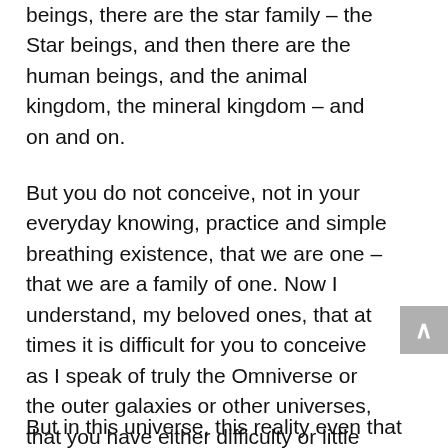beings, there are the star family – the Star beings, and then there are the human beings, and the animal kingdom, the mineral kingdom – and on and on.
But you do not conceive, not in your everyday knowing, practice and simple breathing existence, that we are one – that we are a family of one. Now I understand, my beloved ones, that at times it is difficult for you to conceive as I speak of truly the Omniverse or the outer galaxies or other universes, that you have either difficulty or little interest in truly comprehending and grasping that.
But in this universe, this reality even that you think of as Science... and over...